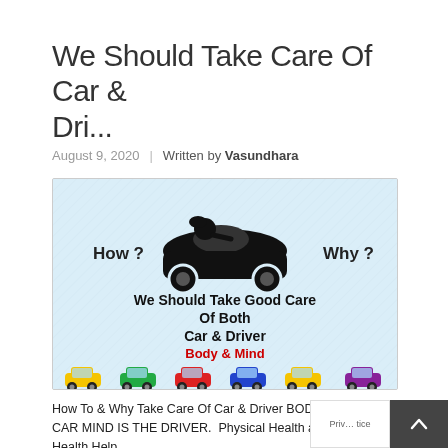We Should Take Care Of Car & Dri...
August 9, 2020  |  Written by Vasundhara
[Figure (illustration): Light blue banner illustration showing a black silhouette of a person driving a sports car, with 'How?' on the left and 'Why?' on the right. Below is text: 'We Should Take Good Care Of Both Car & Driver' with 'Body & Mind' in red. At the bottom is a row of colorful cartoon cars (yellow, green, red, blue, yellow, purple).]
How To & Why Take Care Of Car & Driver BODY IS THE CAR MIND IS THE DRIVER.  Physical Health and Mental Health Help